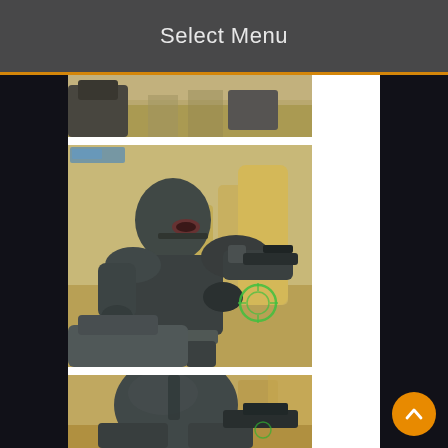Select Menu
[Figure (screenshot): Top partial screenshot of a Star Wars video game scene — desert environment with vehicles, partially cropped at top of panel]
[Figure (screenshot): Screenshot of a dark-armored stormtrooper (Shadow Trooper) in a desert setting from a Star Wars video game, holding a weapon with a green targeting reticle visible]
[Figure (screenshot): Bottom partial screenshot showing the back/top of a dark-armored stormtrooper helmet from a Star Wars video game in a desert environment]